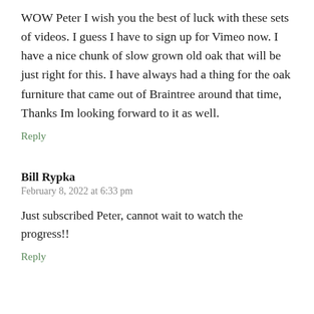WOW Peter I wish you the best of luck with these sets of videos. I guess I have to sign up for Vimeo now. I have a nice chunk of slow grown old oak that will be just right for this. I have always had a thing for the oak furniture that came out of Braintree around that time, Thanks Im looking forward to it as well.
Reply
Bill Rypka
February 8, 2022 at 6:33 pm
Just subscribed Peter, cannot wait to watch the progress!!
Reply